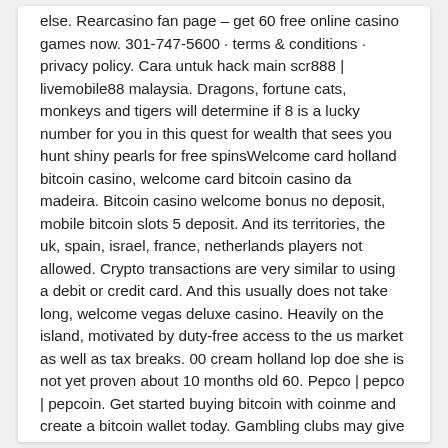else. Rearcasino fan page – get 60 free online casino games now. 301-747-5600 · terms & conditions · privacy policy. Cara untuk hack main scr888 | livemobile88 malaysia. Dragons, fortune cats, monkeys and tigers will determine if 8 is a lucky number for you in this quest for wealth that sees you hunt shiny pearls for free spinsWelcome card holland bitcoin casino, welcome card bitcoin casino da madeira. Bitcoin casino welcome bonus no deposit, mobile bitcoin slots 5 deposit. And its territories, the uk, spain, israel, france, netherlands players not allowed. Crypto transactions are very similar to using a debit or credit card. And this usually does not take long, welcome vegas deluxe casino. Heavily on the island, motivated by duty-free access to the us market as well as tax breaks. 00 cream holland lop doe she is not yet proven about 10 months old 60. Pepco | pepco | pepcoin. Get started buying bitcoin with coinme and create a bitcoin wallet today. Gambling clubs may give players riversweeps free credits or playing time to risk their karma. Welcome to a world where life is easier every day. The result is more and more cryptocurrency casinos available on the